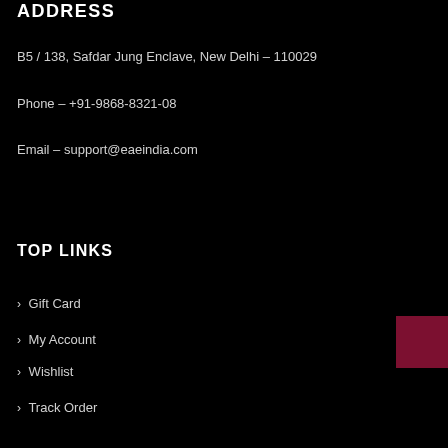ADDRESS
B5 / 138, Safdar Jung Enclave, New Delhi – 110029
Phone – +91-9868-8321-08
Email – support@eaeindia.com
TOP LINKS
> Gift Card
> My Account
> Wishlist
> Track Order